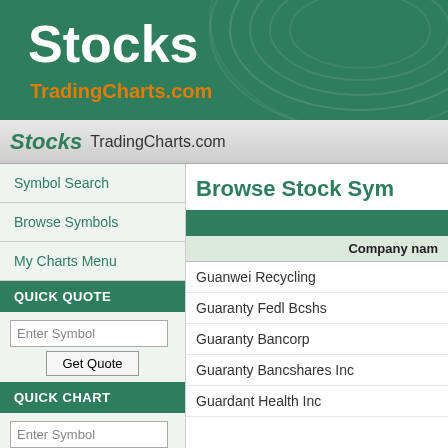[Figure (screenshot): Green banner header with 'Stocks' title in white and 'TradingCharts.com' in orange, with decorative circular pattern]
Stocks TradingCharts.com
Symbol Search
Browse Symbols
My Charts Menu
QUICK QUOTE
Enter Symbol
Get Quote
QUICK CHART
Enter Symbol
Browse Stock Sym
| Company name |
| --- |
| Guanwei Recycling |
| Guaranty Fedl Bcshs |
| Guaranty Bancorp |
| Guaranty Bancshares Inc |
| Guardant Health Inc |